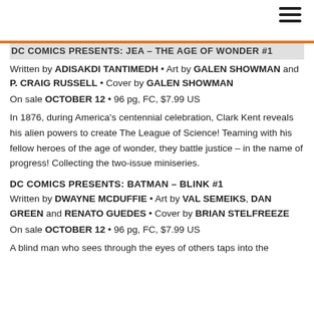DC COMICS PRESENTS: JEA – THE AGE OF WONDER #1
Written by ADISAKDI TANTIMEDH • Art by GALEN SHOWMAN and P. CRAIG RUSSELL • Cover by GALEN SHOWMAN
On sale OCTOBER 12 • 96 pg, FC, $7.99 US
In 1876, during America's centennial celebration, Clark Kent reveals his alien powers to create The League of Science! Teaming with his fellow heroes of the age of wonder, they battle justice – in the name of progress! Collecting the two-issue miniseries.
DC COMICS PRESENTS: BATMAN – BLINK #1
Written by DWAYNE MCDUFFIE • Art by VAL SEMEIKS, DAN GREEN and RENATO GUEDES • Cover by BRIAN STELFREEZE
On sale OCTOBER 12 • 96 pg, FC, $7.99 US
A blind man who sees through the eyes of others taps into the